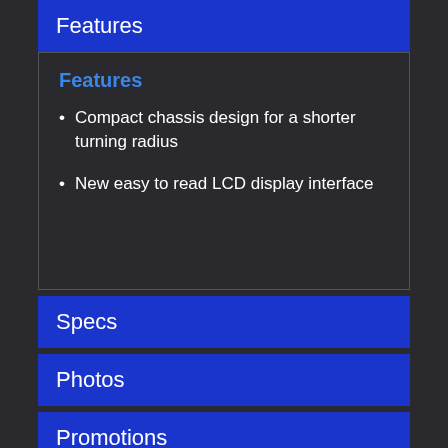Features
Features
Compact chassis design for a shorter turning radius
New easy to read LCD display interface
Specs
Photos
Promotions
Due to continued challenges across supplier networks as well as increasing logistics costs, product pricing, freight charges, specifications, and features are subject to change at any time without prior notice. Please confirm